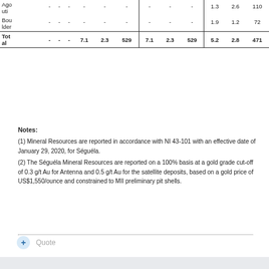|  |  |  |  |  |  |  |  |  |  |  |  |
| --- | --- | --- | --- | --- | --- | --- | --- | --- | --- | --- | --- |
| Agouti | - | - | - | - | - | - | - | - | - | 1.3 | 2.6 | 110 |
| Boulder | - | - | - | - | - | - | - | - | - | 1.9 | 1.2 | 72 |
| Total | - | - | - | 7.1 | 2.3 | 529 | 7.1 | 2.3 | 529 | 5.2 | 2.8 | 471 |
Notes:
(1) Mineral Resources are reported in accordance with NI 43-101 with an effective date of January 29, 2020, for Séguéla.
(2) The Séguéla Mineral Resources are reported on a 100% basis at a gold grade cut-off of 0.3 g/t Au for Antenna and 0.5 g/t Au for the satellite deposits, based on a gold price of US$1,550/ounce and constrained to MII preliminary pit shells.